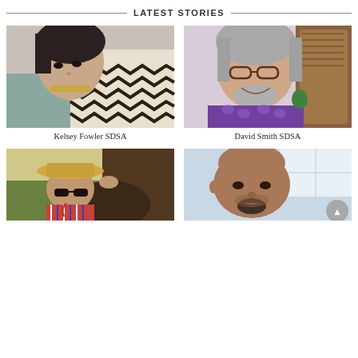LATEST STORIES
[Figure (photo): Portrait photo of Kelsey Fowler SDSA – young woman with dark hair and black and white zigzag patterned clothing, selfie style]
Kelsey Fowler SDSA
[Figure (photo): Portrait photo of David Smith SDSA – older man with grey hair and glasses, smiling, wearing purple patterned shirt, seated in a room with wooden furniture]
David Smith SDSA
[Figure (photo): Photo of a person wearing a straw hat and sunglasses, outdoors near a horse, wearing a striped top]
[Figure (photo): Close-up portrait of a bald man with goatee in a bright room]